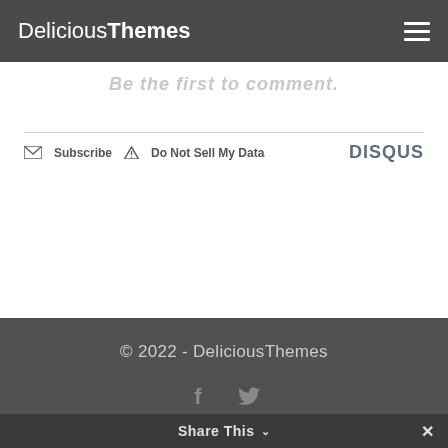DeliciousThemes
Be the first to comment.
Subscribe  Do Not Sell My Data  DISQUS
© 2022 - DeliciousThemes
[Figure (illustration): Facebook and Twitter social icons in grey color]
Sitemap  Home  Blog
Site Maintenance
Share This  ✕